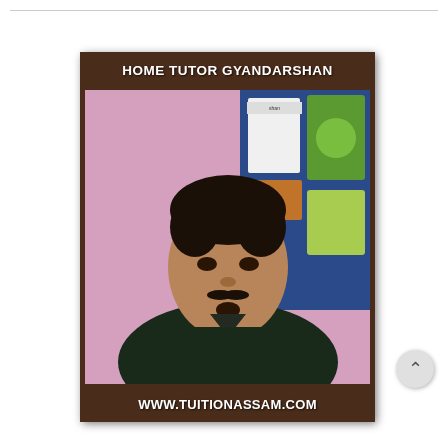[Figure (photo): Portrait photo of a young man wearing a dark shirt, standing in front of a pink wall with a bulletin board visible in the background. The photo is framed in a dark brown/wood-grain frame. Text at top reads HOME TUTOR GYANDARSHAN and at bottom reads WWW.TUITIONASSAM.COM]
HOME TUTOR GYANDARSHAN
WWW.TUITIONASSAM.COM